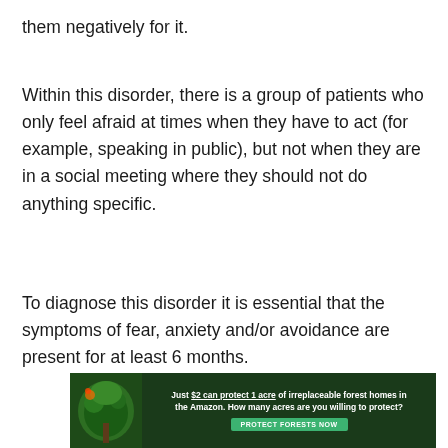them negatively for it.
Within this disorder, there is a group of patients who only feel afraid at times when they have to act (for example, speaking in public), but not when they are in a social meeting where they should not do anything specific.
To diagnose this disorder it is essential that the symptoms of fear, anxiety and/or avoidance are present for at least 6 months.
[Figure (infographic): Advertisement banner: Just $2 can protect 1 acre of irreplaceable forest homes in the Amazon. How many acres are you willing to protect? Button: PROTECT FORESTS NOW]